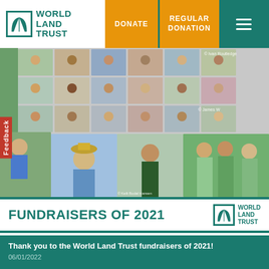World Land Trust — DONATE | REGULAR DONATION
[Figure (photo): Collage of children and adults fundraising — video call grid of kids, outdoor photos of children holding objects, cycling, posing in nature. Photo credits include Ivan Routledge, James W, Kelli Bodal Hansen.]
FUNDRAISERS OF 2021
Thank you to the World Land Trust fundraisers of 2021!
06/01/2022